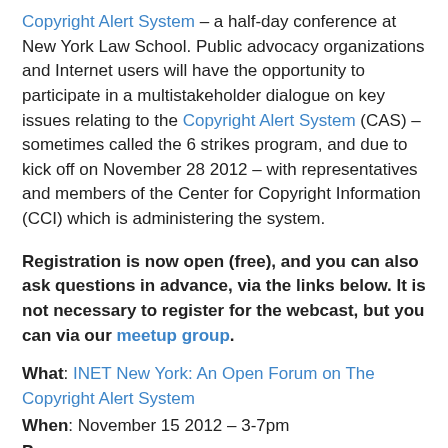Copyright Alert System – a half-day conference at New York Law School. Public advocacy organizations and Internet users will have the opportunity to participate in a multistakeholder dialogue on key issues relating to the Copyright Alert System (CAS) – sometimes called the 6 strikes program, and due to kick off on November 28 2012 – with representatives and members of the Center for Copyright Information (CCI) which is administering the system.
Registration is now open (free), and you can also ask questions in advance, via the links below. It is not necessary to register for the webcast, but you can via our meetup group.
What: INET New York: An Open Forum on The Copyright Alert System
When: November 15 2012 – 3-7pm
Program: